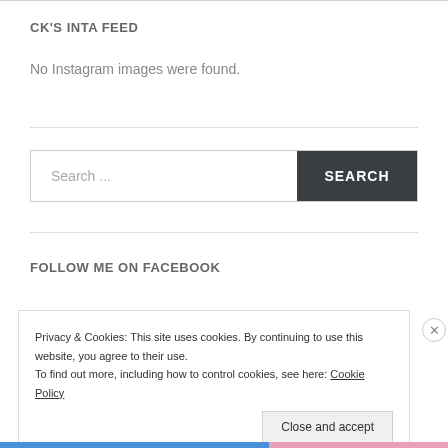CK'S INTA FEED
No Instagram images were found.
[Figure (screenshot): Search bar with text input placeholder 'Search ...' and a dark grey SEARCH button]
FOLLOW ME ON FACEBOOK
Privacy & Cookies: This site uses cookies. By continuing to use this website, you agree to their use.
To find out more, including how to control cookies, see here: Cookie Policy
Close and accept